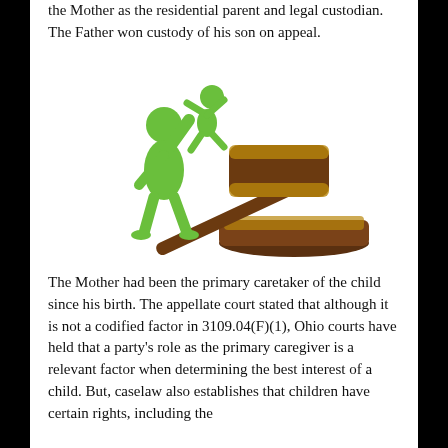the Mother as the residential parent and legal custodian. The Father won custody of his son on appeal.
[Figure (illustration): A green puppet-like figure holding up a smaller green child figure, with a large brown wooden judge's gavel resting on a sound block beside them.]
The Mother had been the primary caretaker of the child since his birth. The appellate court stated that although it is not a codified factor in 3109.04(F)(1), Ohio courts have held that a party's role as the primary caregiver is a relevant factor when determining the best interest of a child. But, caselaw also establishes that children have certain rights, including the right to change home. The court noted that the Mother had...